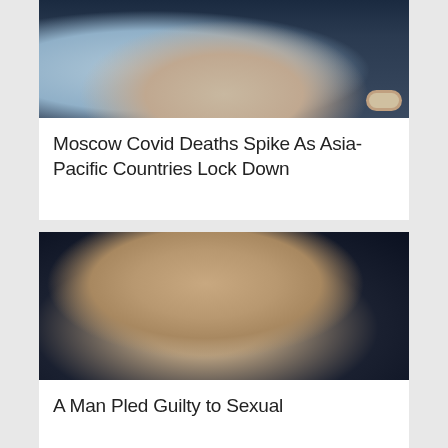[Figure (photo): Person adjusting a face mask, wearing a watch, hands visible, dark jacket background]
Moscow Covid Deaths Spike As Asia-Pacific Countries Lock Down
[Figure (photo): Young man in a dark suit and white shirt, shown in profile/three-quarter view, light yellowish background]
A Man Pled Guilty to Sexual